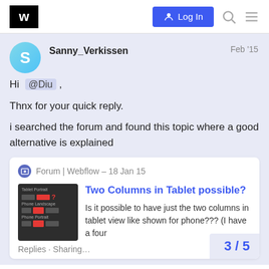[Figure (screenshot): Webflow forum website header with logo, Log In button, search icon, and menu icon]
Sanny_Verkissen
Feb '15
Hi @Diu ,
Thnx for your quick reply.
i searched the forum and found this topic where a good alternative is explained
Forum | Webflow – 18 Jan 15
Two Columns in Tablet possible?
Is it possible to have just the two columns in tablet view like shown for phone??? (I have a four
3 / 5